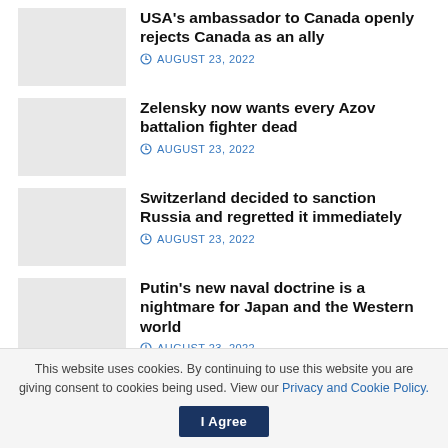USA's ambassador to Canada openly rejects Canada as an ally
AUGUST 23, 2022
Zelensky now wants every Azov battalion fighter dead
AUGUST 23, 2022
Switzerland decided to sanction Russia and regretted it immediately
AUGUST 23, 2022
Putin's new naval doctrine is a nightmare for Japan and the Western world
AUGUST 23, 2022
This website uses cookies. By continuing to use this website you are giving consent to cookies being used. View our Privacy and Cookie Policy.